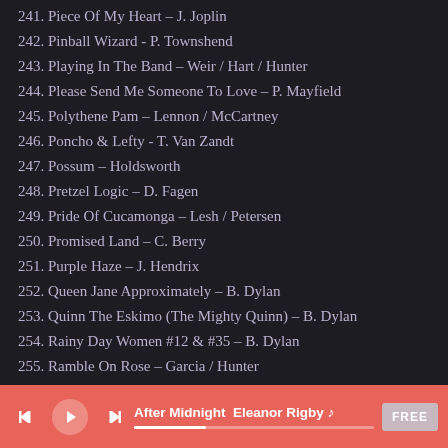241. Piece Of My Heart – J. Joplin
242. Pinball Wizard - P. Townshend
243. Playing In The Band – Weir / Hart / Hunter
244. Please Send Me Someone To Love – P. Mayfield
245. Polythene Pam – Lennon / McCartney
246. Poncho & Lefty - T. Van Zandt
247. Possum – Holdsworth
248. Pretzel Logic – D. Fagen
249. Pride Of Cucamonga – Lesh / Petersen
250. Promised Land – C. Berry
251. Purple Haze – J. Hendrix
252. Queen Jane Approximately – B. Dylan
253. Quinn The Eskimo (The Mighty Quinn) – B. Dylan
254. Rainy Day Women #12 & #35 – B. Dylan
255. Ramble On Rose – Garcia / Hunter
256. Rays That Shine – C. Hawk
After Midnight  Eleanor Rigby ♪  FREE